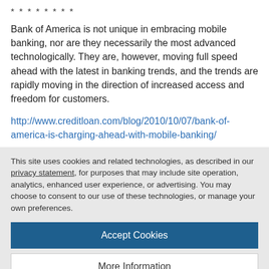********
Bank of America is not unique in embracing mobile banking, nor are they necessarily the most advanced technologically. They are, however, moving full speed ahead with the latest in banking trends, and the trends are rapidly moving in the direction of increased access and freedom for customers.
http://www.creditloan.com/blog/2010/10/07/bank-of-america-is-charging-ahead-with-mobile-banking/
This site uses cookies and related technologies, as described in our privacy statement, for purposes that may include site operation, analytics, enhanced user experience, or advertising. You may choose to consent to our use of these technologies, or manage your own preferences.
Accept Cookies
More Information
Privacy Policy | Powered by: TrustArc
These applications are changing the way people experience